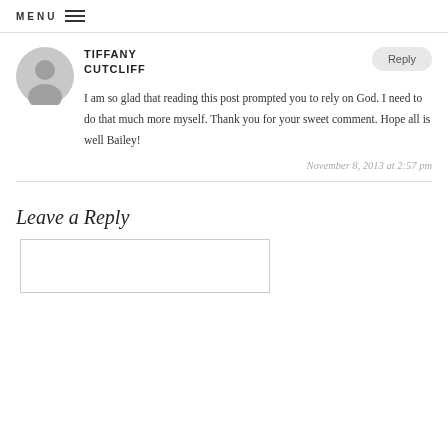MENU ☰
TIFFANY CUTCLIFF
I am so glad that reading this post prompted you to rely on God. I need to do that much more myself. Thank you for your sweet comment. Hope all is well Bailey!
November 8, 2013 at 2:57 pm
Leave a Reply